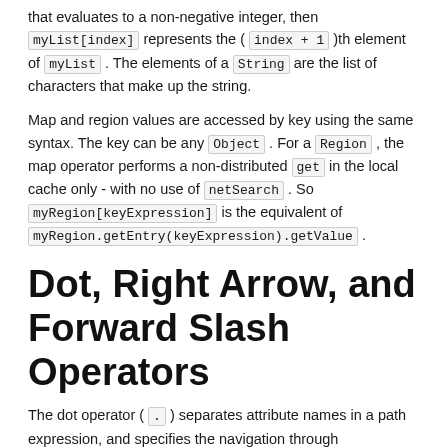that evaluates to a non-negative integer, then myList[index] represents the ( index + 1 )th element of myList . The elements of a String are the list of characters that make up the string.
Map and region values are accessed by key using the same syntax. The key can be any Object . For a Region , the map operator performs a non-distributed get in the local cache only - with no use of netSearch . So myRegion[keyExpression] is the equivalent of myRegion.getEntry(keyExpression).getValue .
Dot, Right Arrow, and Forward Slash Operators
The dot operator ( . ) separates attribute names in a path expression, and specifies the navigation through